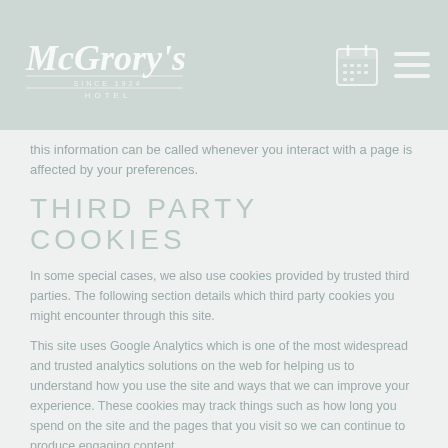McGrory's Hotel
this information can be called whenever you interact with a page is affected by your preferences.
THIRD PARTY COOKIES
In some special cases, we also use cookies provided by trusted third parties. The following section details which third party cookies you might encounter through this site.
This site uses Google Analytics which is one of the most widespread and trusted analytics solutions on the web for helping us to understand how you use the site and ways that we can improve your experience. These cookies may track things such as how long you spend on the site and the pages that you visit so we can continue to produce engaging content.
For more information on Google Analytics cookies, see the official Google Analytics page.